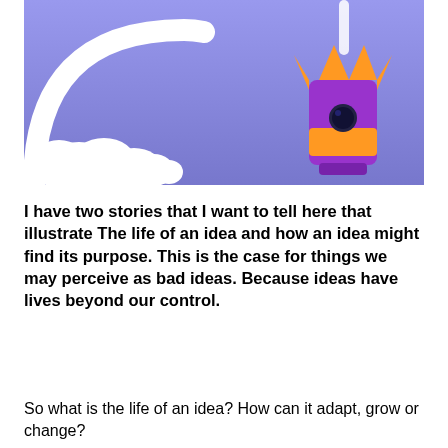[Figure (illustration): 3D rendered illustration on a periwinkle/lavender blue background. On the left side is a white 3D arc/rainbow shape with white cloud-like puffs at its base. On the right side is a purple and orange rocket or bomb shape with orange fins at the top and an orange band around the middle, with a dark porthole window.]
I have two stories that I want to tell here that illustrate The life of an idea and how an idea might find its purpose. This is the case for things we may perceive as bad ideas. Because ideas have lives beyond our control.
So what is the life of an idea? How can it adapt, grow or change?